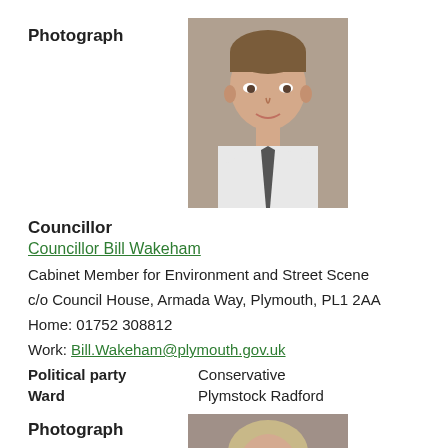Photograph
[Figure (photo): Portrait photo of Councillor Bill Wakeham, a middle-aged man in a white shirt and tie]
Councillor
Councillor Bill Wakeham
Cabinet Member for Environment and Street Scene
c/o Council House, Armada Way, Plymouth, PL1 2AA
Home: 01752 308812
Work: Bill.Wakeham@plymouth.gov.uk
Political party	Conservative
Ward	Plymstock Radford
Photograph
[Figure (photo): Portrait photo of a female councillor with blonde/grey hair]